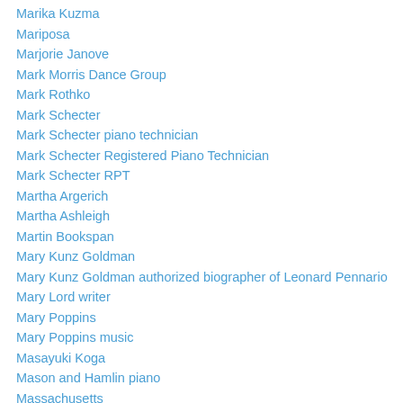Marika Kuzma
Mariposa
Marjorie Janove
Mark Morris Dance Group
Mark Rothko
Mark Schecter
Mark Schecter piano technician
Mark Schecter Registered Piano Technician
Mark Schecter RPT
Martha Argerich
Martha Ashleigh
Martin Bookspan
Mary Kunz Goldman
Mary Kunz Goldman authorized biographer of Leonard Pennario
Mary Lord writer
Mary Poppins
Mary Poppins music
Masayuki Koga
Mason and Hamlin piano
Massachusetts